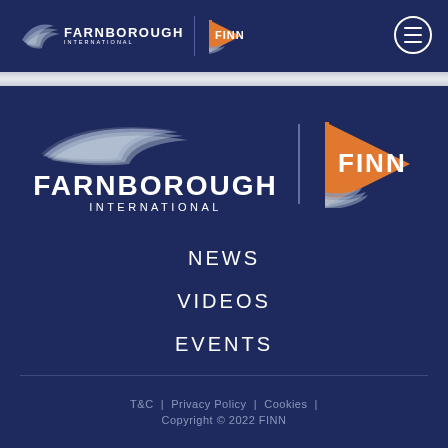[Figure (logo): Farnborough International and FINN logo in top navigation bar, with hamburger menu icon]
[Figure (logo): Large Farnborough International FINN combined logo in main content area with swoosh graphic above text]
NEWS
VIDEOS
EVENTS
T&C  |  Privacy Policy  |  Cookies  |
Copyright © 2022 FINN